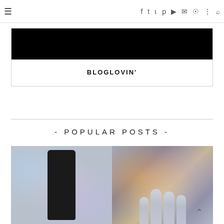≡ social navigation icons: facebook, twitter, instagram, pinterest, youtube, email, rss, more, search
[Figure (other): Bloglovin widget with black banner image and BLOGLOVIN' text label centered below]
- POPULAR POSTS -
[Figure (photo): Two side-by-side blog post thumbnail images: left shows a dark nail polish bottle against holographic glitter background; right shows silver/chrome painted nails on a colorful holographic background]